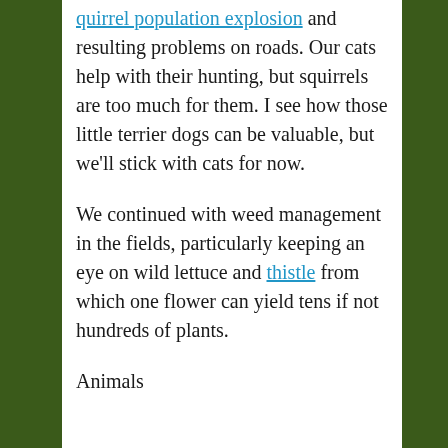quirrel population explosion and resulting problems on roads. Our cats help with their hunting, but squirrels are too much for them. I see how those little terrier dogs can be valuable, but we'll stick with cats for now.
We continued with weed management in the fields, particularly keeping an eye on wild lettuce and thistle from which one flower can yield tens if not hundreds of plants.
Animals